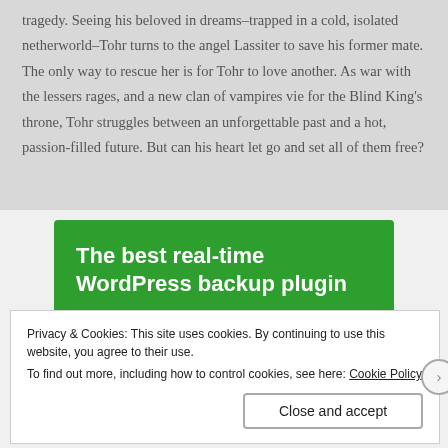tragedy. Seeing his beloved in dreams–trapped in a cold, isolated netherworld–Tohr turns to the angel Lassiter to save his former mate. The only way to rescue her is for Tohr to love another. As war with the lessers rages, and a new clan of vampires vie for the Blind King's throne, Tohr struggles between an unforgettable past and a hot, passion-filled future. But can his heart let go and set all of them free?
[Figure (infographic): Green advertisement banner reading 'The best real-time WordPress backup plugin' with a white button 'Back up your site']
Privacy & Cookies: This site uses cookies. By continuing to use this website, you agree to their use.
To find out more, including how to control cookies, see here: Cookie Policy
Close and accept